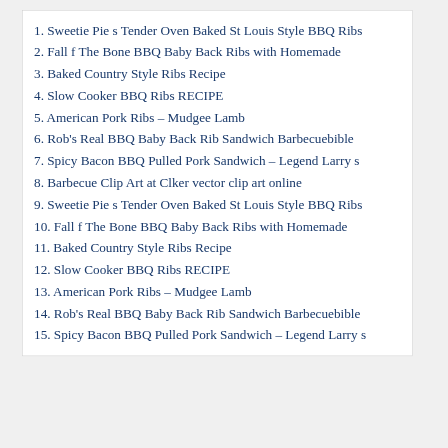1. Sweetie Pie s Tender Oven Baked St Louis Style BBQ Ribs
2. Fall f The Bone BBQ Baby Back Ribs with Homemade
3. Baked Country Style Ribs Recipe
4. Slow Cooker BBQ Ribs RECIPE
5. American Pork Ribs – Mudgee Lamb
6. Rob's Real BBQ Baby Back Rib Sandwich Barbecuebible
7. Spicy Bacon BBQ Pulled Pork Sandwich – Legend Larry s
8. Barbecue Clip Art at Clker vector clip art online
9. Sweetie Pie s Tender Oven Baked St Louis Style BBQ Ribs
10. Fall f The Bone BBQ Baby Back Ribs with Homemade
11. Baked Country Style Ribs Recipe
12. Slow Cooker BBQ Ribs RECIPE
13. American Pork Ribs – Mudgee Lamb
14. Rob's Real BBQ Baby Back Rib Sandwich Barbecuebible
15. Spicy Bacon BBQ Pulled Pork Sandwich – Legend Larry s
The Best 15 Barbeque Pork Ribs .
BBQ needs to be just one of the best, otherwise the best, foods in the entire globe. It simply tastes so